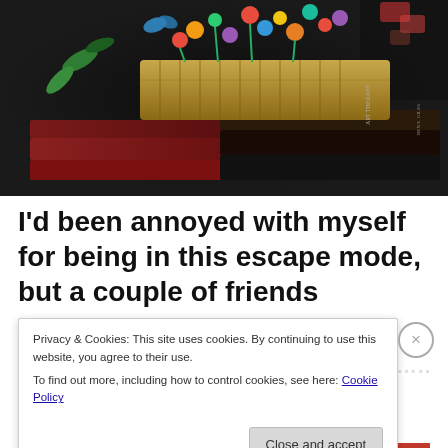[Figure (photo): A jigsaw puzzle image showing stacked books with colorful flowers and butterflies arranged on top, against a dark background. Book spines visible including 'Art Therapy' and another title. The puzzle pieces are visible at the edges.]
I'd been annoyed with myself for being in this escape mode, but a couple of friends
Privacy & Cookies: This site uses cookies. By continuing to use this website, you agree to their use.
To find out more, including how to control cookies, see here: Cookie Policy
Close and accept